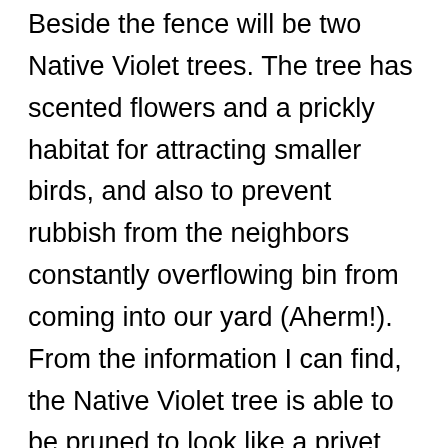Beside the fence will be two Native Violet trees. The tree has scented flowers and a prickly habitat for attracting smaller birds, and also to prevent rubbish from the neighbors constantly overflowing bin from coming into our yard (Aherm!). From the information I can find, the Native Violet tree is able to be pruned to look like a privet hedge, so it's shape can flow on from the Hopbush hedge nicely.
Finally, at the front of the yard, we will be keeping the existing prostrate Eremophila